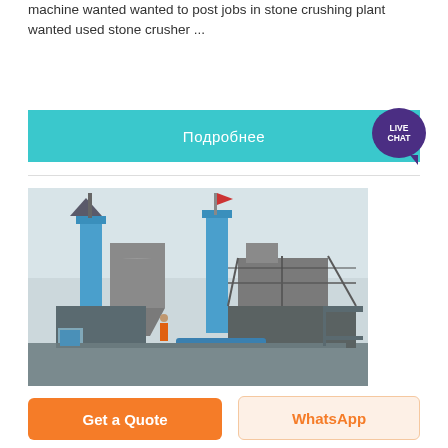machine wanted wanted to post jobs in stone crushing plant wanted used stone crusher ...
[Figure (other): Cyan/teal banner button with Russian text 'Подробнее' and a purple Live Chat speech bubble icon on the right]
[Figure (photo): Photograph of an industrial stone crushing plant facility with blue elevator towers and grey silos/hoppers]
Get a Quote
WhatsApp